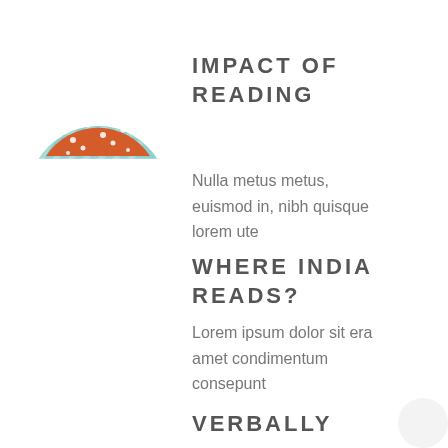[Figure (illustration): Watermelon slice illustration with orange-red flesh, white seeds, and teal/blue-striped rind]
IMPACT OF READING
Nulla metus metus, euismod in, nibh quisque lorem ute
WHERE INDIA READS?
Lorem ipsum dolor sit era amet condimentum consepunt
VERBALLY